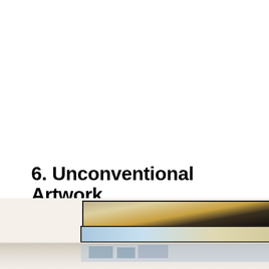6. Unconventional Artwork
[Figure (photo): A gallery wall with multiple framed and unframed artworks displayed. Top row shows a wide landscape painting, a framed orange/pink artwork, and a framed golden/dark painting. Bottom row shows two wide horizontal artworks. Below is a reflective surface showing the artworks' reflections.]